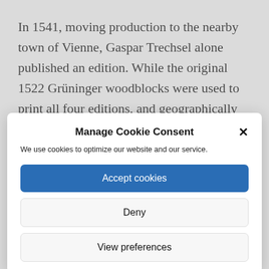In 1541, moving production to the nearby town of Vienne, Gaspar Trechsel alone published an edition. While the original 1522 Grüninger woodblocks were used to print all four editions, and geographically the maps from each edition are the same, their
Manage Cookie Consent
We use cookies to optimize our website and our service.
Accept cookies
Deny
View preferences